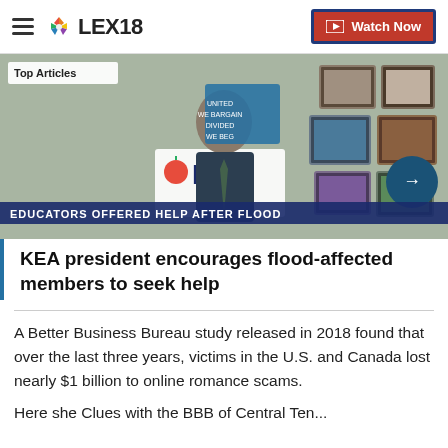LEX18 | Watch Now
[Figure (screenshot): Video screenshot of a man in a suit sitting in front of a wall of framed pictures and a KEA sign, with ticker text EDUCATORS OFFERED HELP AFTER FLOOD, and overlay title 'KEA president encourages flood-affected members to seek help'. Top Articles badge visible.]
KEA president encourages flood-affected members to seek help
A Better Business Bureau study released in 2018 found that over the last three years, victims in the U.S. and Canada lost nearly $1 billion to online romance scams.
Here she Clues with the BBB of Central Ten...